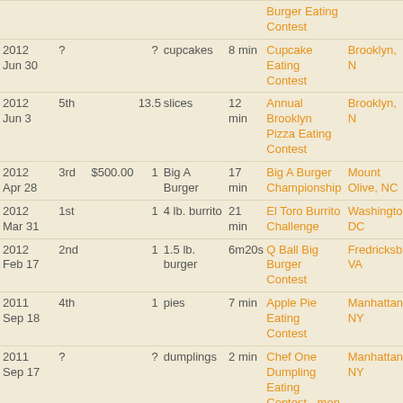| Date | Place | Prize | Qty | Food | Time | Event | Location |
| --- | --- | --- | --- | --- | --- | --- | --- |
|  |  |  |  | Burger Eating Contest |  |  |  |
| 2012 Jun 30 | ? |  | ? | cupcakes | 8 min | Cupcake Eating Contest | Brooklyn, N |
| 2012 Jun 3 | 5th |  | 13.5 | slices | 12 min | Annual Brooklyn Pizza Eating Contest | Brooklyn, N |
| 2012 Apr 28 | 3rd | $500.00 | 1 | Big A Burger | 17 min | Big A Burger Championship | Mount Olive, NC |
| 2012 Mar 31 | 1st |  | 1 | 4 lb. burrito | 21 min | El Toro Burrito Challenge | Washington, DC |
| 2012 Feb 17 | 2nd |  | 1 | 1.5 lb. burger | 6m20s | Q Ball Big Burger Contest | Fredricksburg, VA |
| 2011 Sep 18 | 4th |  | 1 | pies | 7 min | Apple Pie Eating Contest | Manhattan, NY |
| 2011 Sep 17 | ? |  | ? | dumplings | 2 min | Chef One Dumpling Eating Contest - men | Manhattan, NY |
| 2011 Sep 5 | 1st |  | 5 | matzo balls | 8 min | Matzo Ball Eating Contest | Bethesda, M |
| 2011 Sep 3 | 3rd | $100.00 | 8 | burgers | 8 min | Hamburger Eating Contest - pros | Hamburg, P |
| 2011 Aug 30 | 2nd |  | 48 | wings | 10 min | Capitol Lounge Fire Party | Washington, DC |
|  |  |  |  |  |  | National Run & |  |